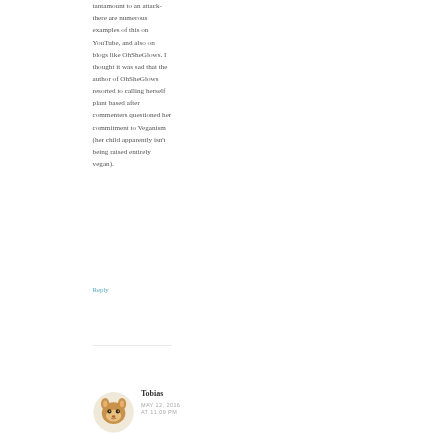tantamount to an attack- there are numerous examples of this on YouTube, and also on blogs like OhSheGlows. I thought it was sad that the author of OhSheGlows resorted to calling herself plant based after commenters questioned her commitment to Veganism (her child apparently isn't being raised entirely vegan).
Reply
Tobias
MAY 12, 2016 AT 11:09 PM